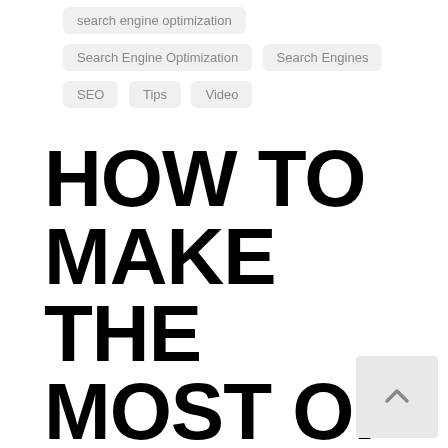search engine optimization
Search Engine Optimization
Search Engines
SEO
Tips
Video
HOW TO MAKE THE MOST OF YOUR GOOGLE ADS CAMPAIGNS